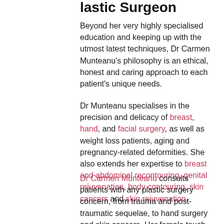Plastic Surgeon
Beyond her very highly specialised education and keeping up with the utmost latest techniques, Dr Carmen Munteanu's philosophy is an ethical, honest and caring approach to each patient's unique needs.
Dr Munteanu specialises in the precision and delicacy of breast, hand, and facial surgery, as well as weight loss patients, aging and pregnancy-related deformities. She also extends her expertise to breast and abdominal recontouring, genital rejuvenation, body contouring, skin cancers and skin rejuvenation.
Dr Carmen Munteanu consults patients with any plastic surgery concern, from trauma and post-traumatic sequelae, to hand surgery and skin cancers. Her female touch has a particular